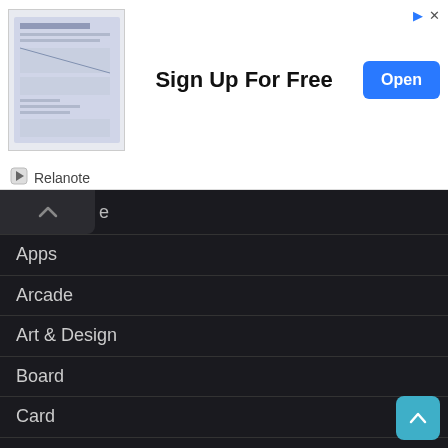[Figure (screenshot): Advertisement banner for Relanote app showing 'Sign Up For Free' text and an Open button]
Apps
Arcade
Art & Design
Board
Card
Casino
Casual
Communication
Games
Media & Video